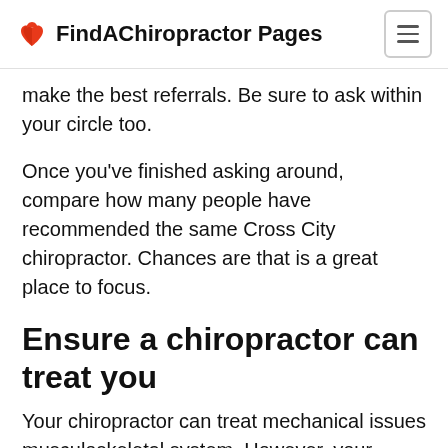FindAChiropractor Pages
make the best referrals. Be sure to ask within your circle too.
Once you've finished asking around, compare how many people have recommended the same Cross City chiropractor. Chances are that is a great place to focus.
Ensure a chiropractor can treat you
Your chiropractor can treat mechanical issues musculoskeletal system. However, your Cross City chiropractor can't treat all associated pain with these areas. Severe arthritis,